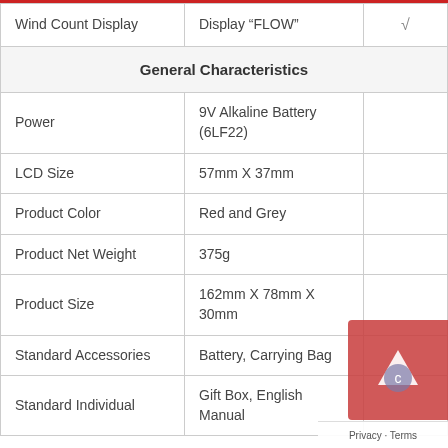| Feature | Value |  |
| --- | --- | --- |
| Wind Count Display | Display “FLOW” | √ |
| General Characteristics |  |  |
| Power | 9V Alkaline Battery (6LF22) |  |
| LCD Size | 57mm X 37mm |  |
| Product Color | Red and Grey |  |
| Product Net Weight | 375g |  |
| Product Size | 162mm X 78mm X 30mm |  |
| Standard Accessories | Battery, Carrying Bag |  |
| Standard Individual | Gift Box, English Manual |  |